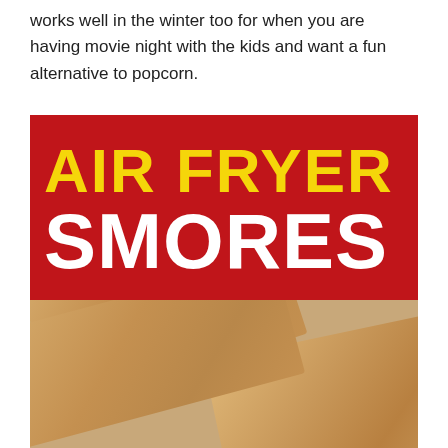works well in the winter too for when you are having movie night with the kids and want a fun alternative to popcorn.
[Figure (photo): Promotional banner for Air Fryer Smores recipe. Red background with bold yellow text reading 'AIR FRYER' and white text reading 'SMORES', with a photo of graham crackers with melted marshmallow and chocolate filling below.]